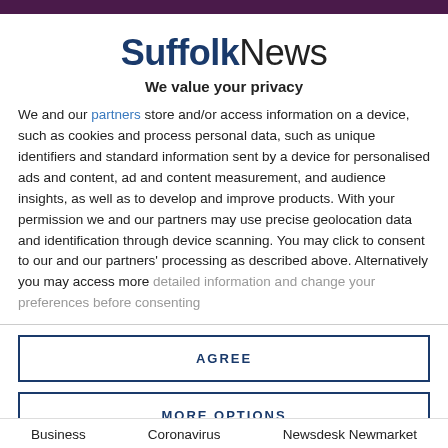SuffolkNews
We value your privacy
We and our partners store and/or access information on a device, such as cookies and process personal data, such as unique identifiers and standard information sent by a device for personalised ads and content, ad and content measurement, and audience insights, as well as to develop and improve products. With your permission we and our partners may use precise geolocation data and identification through device scanning. You may click to consent to our and our partners' processing as described above. Alternatively you may access more detailed information and change your preferences before consenting
AGREE
MORE OPTIONS
Business   Coronavirus   Newsdesk Newmarket